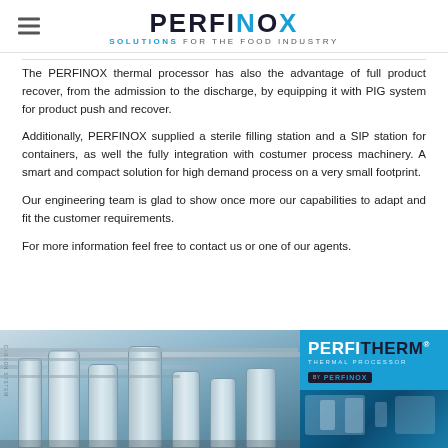PERFINOX — SOLUTIONS FOR THE FOOD INDUSTRY
The PERFINOX thermal processor has also the advantage of full product recover, from the admission to the discharge, by equipping it with PIG system for product push and recover.
Additionally, PERFINOX supplied a sterile filling station and a SIP station for containers, as well the fully integration with costumer process machinery. A smart and compact solution for high demand process on a very small footprint.
Our engineering team is glad to show once more our capabilities to adapt and fit the customer requirements.
For more information feel free to contact us or one of our agents.
[Figure (photo): Industrial food processing equipment — stainless steel tanks and piping on left; PERFITHERM THERMAL PROCESSOR by PERFINOX branding panel on right with blue background showing industrial machinery below.]